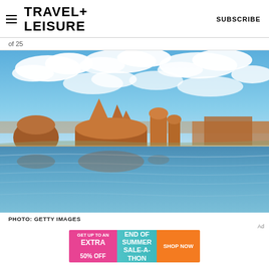TRAVEL+ LEISURE   SUBSCRIBE
of 25
[Figure (photo): Scenic photo of Lake Powell showing red sandstone rock formations, their reflections in calm blue water, with a bright blue sky filled with white clouds in the background.]
PHOTO: GETTY IMAGES
[Figure (infographic): Advertisement banner: GET UP TO AN EXTRA 50% OFF | END OF SUMMER SALE-A-THON | SHOP NOW]